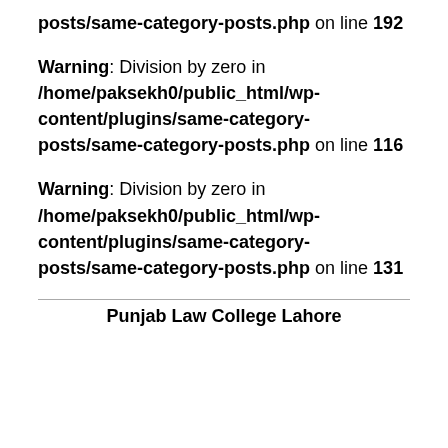posts/same-category-posts.php on line 192
Warning: Division by zero in /home/paksekh0/public_html/wp-content/plugins/same-category-posts/same-category-posts.php on line 116
Warning: Division by zero in /home/paksekh0/public_html/wp-content/plugins/same-category-posts/same-category-posts.php on line 131
Punjab Law College Lahore